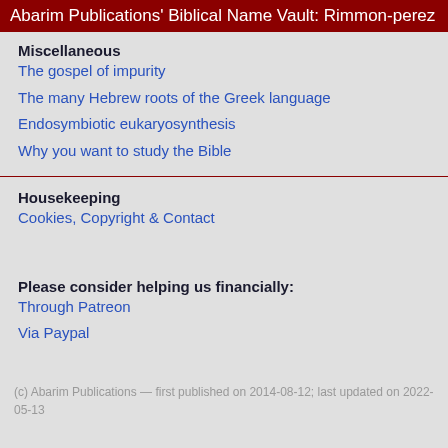Abarim Publications' Biblical Name Vault: Rimmon-perez
Miscellaneous
The gospel of impurity
The many Hebrew roots of the Greek language
Endosymbiotic eukaryosynthesis
Why you want to study the Bible
Housekeeping
Cookies, Copyright & Contact
Please consider helping us financially:
Through Patreon
Via Paypal
(c) Abarim Publications — first published on 2014-08-12; last updated on 2022-05-13